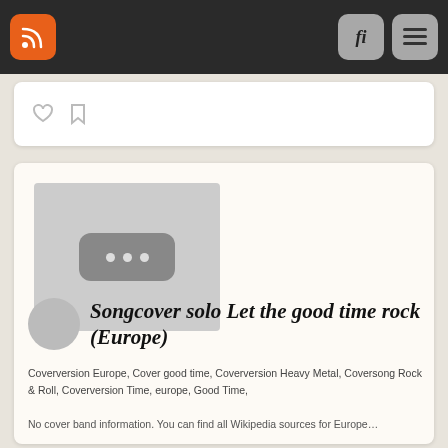RSS feed navigation bar with search and menu buttons
[Figure (screenshot): Partial content card showing heart and bookmark icons]
[Figure (screenshot): Blog post card with video thumbnail placeholder (three dots), user avatar, post title 'Songcover solo Let the good time rock (Europe)', tags, and excerpt]
Songcover solo Let the good time rock (Europe)
Coverversion Europe, Cover good time, Coverversion Heavy Metal, Coversong Rock & Roll, Coverversion Time, europe, Good Time,